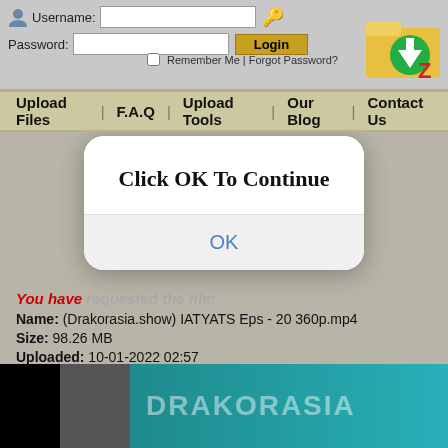[Figure (screenshot): Login form with Username and Password fields, Login button, Remember Me checkbox, Forgot Password link, and file download site logo/folder icon]
Upload Files | F.A.Q | Upload Tools | Our Blog | Contact Us
[Figure (screenshot): Modal dialog box with white rounded background saying 'Click OK To Continue' and an OK button]
You have requested the file:
Name: (Drakorasia.show) IATYATS Eps - 20 360p.mp4
Size: 98.26 MB
Uploaded: 10-01-2022 02:57
[Figure (screenshot): Bottom banner with dark teal background showing DRAKORASIA logo text and a thumbnail image]